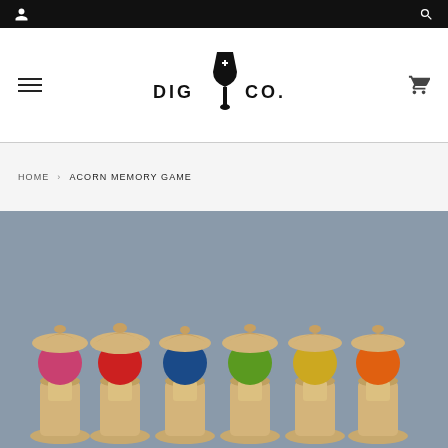Top navigation bar with user icon and search icon
[Figure (logo): DIG + CO. logo with trowel/shovel icon between DIG and CO. text]
HOME › ACORN MEMORY GAME
[Figure (photo): Colorful wooden acorn memory game pieces arranged in a row on a grey concrete background. The acorns have colorful bodies (pink, red, blue, green, yellow, cream, orange) with natural wood caps and sit in wooden cup bases.]